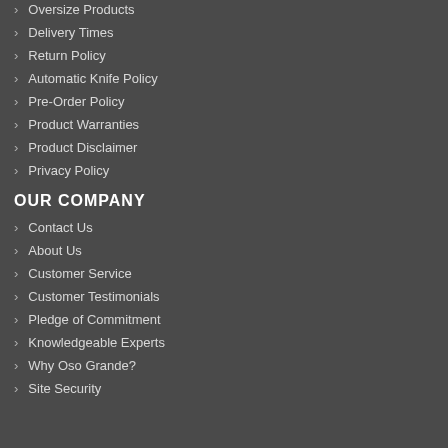Oversize Products
Delivery Times
Return Policy
Automatic Knife Policy
Pre-Order Policy
Product Warranties
Product Disclaimer
Privacy Policy
OUR COMPANY
Contact Us
About Us
Customer Service
Customer Testimonials
Pledge of Commitment
Knowledgeable Experts
Why Oso Grande?
Site Security